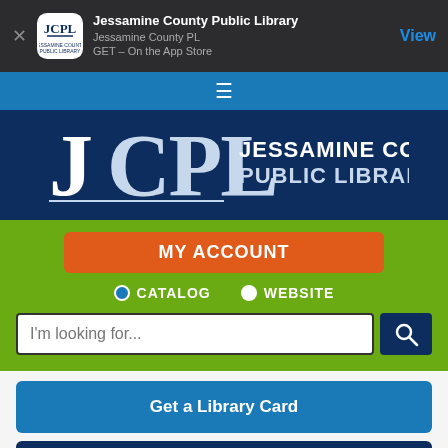[Figure (screenshot): App Store smart banner for Jessamine County Public Library app showing JCPL logo, app name, subtitle 'Jessamine County PL', 'GET - On the App Store', and a 'View' button]
[Figure (screenshot): Website screenshot of Jessamine County Public Library showing navigation bar with hamburger menu, JCPL logo on dark blue background, MY ACCOUNT orange button, CATALOG/WEBSITE radio buttons, search bar with 'I'm looking for...' placeholder, and buttons for 'Get a Library Card' and 'Meeting Rooms']